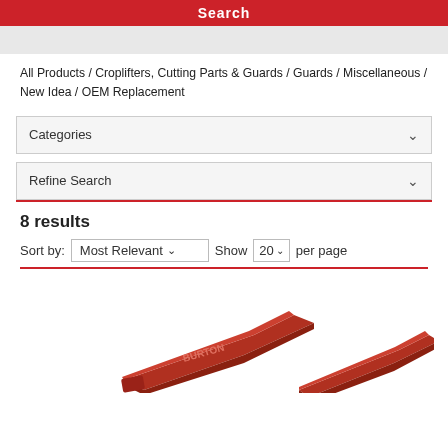Search
All Products / Croplifters, Cutting Parts & Guards / Guards / Miscellaneous / New Idea / OEM Replacement
Categories
Refine Search
8 results
Sort by: Most Relevant  Show 20 per page
[Figure (photo): Two red metal crop guard parts (triangular wedge-shaped agricultural cutting guards) shown on white background]